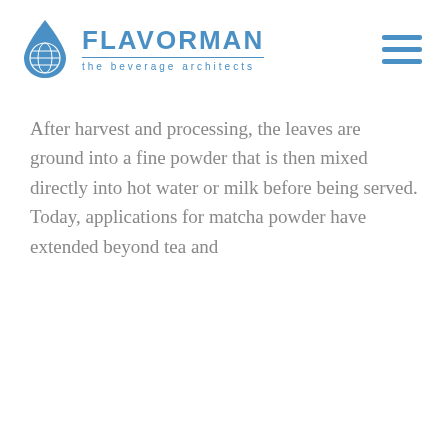[Figure (logo): Flavorman logo with water drop and globe icon, blue color, text FLAVORMAN and tagline 'the beverage architects']
After harvest and processing, the leaves are ground into a fine powder that is then mixed directly into hot water or milk before being served. Today, applications for matcha powder have extended beyond tea and
Cookie Notice
We use cookies to offer you a better experience, analyze site traffic, and serve targeted ads. By continuing to use this website you consent to the use of cookies in accordance with our Privacy Policy.